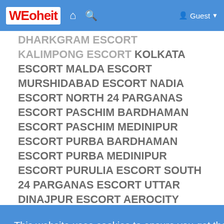WEoheit [home icon] [search icon] Guest
DHARKGRAM ESCORT KALIMPONG ESCORT KOLKATA ESCORT MALDA ESCORT MURSHIDABAD ESCORT NADIA ESCORT NORTH 24 PARGANAS ESCORT PASCHIM BARDHAMAN ESCORT PASCHIM MEDINIPUR ESCORT PURBA BARDHAMAN ESCORT PURBA MEDINIPUR ESCORT PURULIA ESCORT SOUTH 24 PARGANAS ESCORT UTTAR DINAJPUR ESCORT AEROCITY ESCORT MAHIPALPUR ESCORT CONNAUGHT PLACE
This website uses cookies to ensure you get the best experience on our website. Learn More
Got It!
ESCORT SURAJKUND ESCORT PAHARGANJ ESCORT HAROL BAGH ESCORT MINIBU